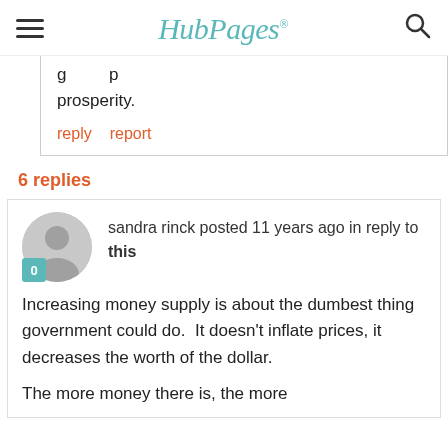HubPages
g   p prosperity.
reply   report
6 replies
sandra rinck posted 11 years ago in reply to this
Increasing money supply is about the dumbest thing government could do.  It doesn't inflate prices, it decreases the worth of the dollar.

The more money there is, the more